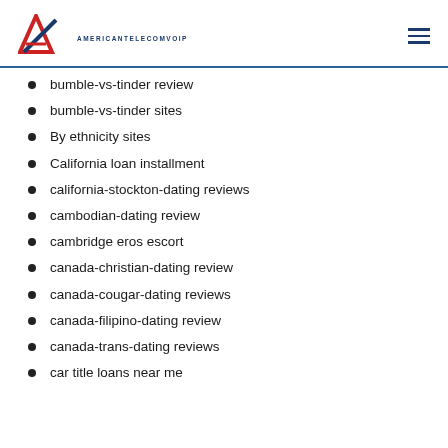AMERICANTELECOMVOIP
bumble-vs-tinder review
bumble-vs-tinder sites
By ethnicity sites
California loan installment
california-stockton-dating reviews
cambodian-dating review
cambridge eros escort
canada-christian-dating review
canada-cougar-dating reviews
canada-filipino-dating review
canada-trans-dating reviews
car title loans near me